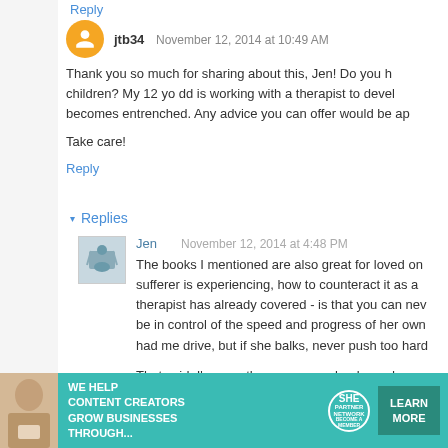Reply
jtb34  November 12, 2014 at 10:49 AM
Thank you so much for sharing about this, Jen! Do you h... children? My 12 yo dd is working with a therapist to devel... becomes entrenched. Any advice you can offer would be ap...

Take care!
Reply
▾ Replies
Jen  November 12, 2014 at 4:48 PM
The books I mentioned are also great for loved on... sufferer is experiencing, how to counteract it as a... therapist has already covered - is that you can nev... be in control of the speed and progress of her own... had me drive, but if she balks, never push too hard...

That said, I'm sure there are more books and reso... therapist for recommendations.
[Figure (infographic): SHE Partner Network advertisement banner: We help content creators grow businesses through... with a Learn More button]